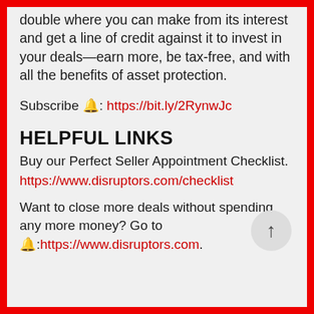double where you can make from its interest and get a line of credit against it to invest in your deals—earn more, be tax-free, and with all the benefits of asset protection.
Subscribe 🔔: https://bit.ly/2RynwJc
HELPFUL LINKS
Buy our Perfect Seller Appointment Checklist.
https://www.disruptors.com/checklist
Want to close more deals without spending any more money? Go to 🔔:https://www.disruptors.com.